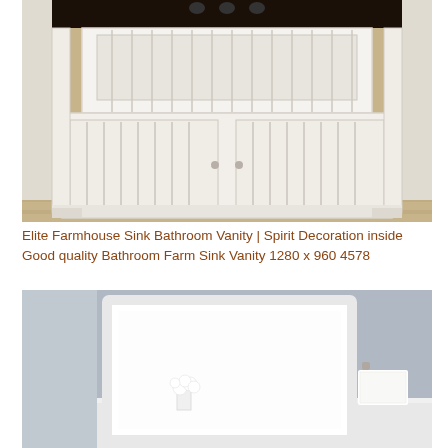[Figure (photo): Photo of an elite farmhouse sink bathroom vanity with white bead-board cabinet doors and a dark countertop, set on a wood floor background.]
Elite Farmhouse Sink Bathroom Vanity | Spirit Decoration inside Good quality Bathroom Farm Sink Vanity 1280 x 960 4578
[Figure (photo): Photo of a white-framed rectangular mirror mounted on a gray wall above a white bathroom counter, with white flowers in a vase and a towel bar visible.]